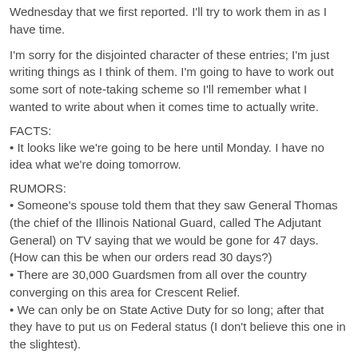Wednesday that we first reported. I'll try to work them in as I have time.
I'm sorry for the disjointed character of these entries; I'm just writing things as I think of them. I'm going to have to work out some sort of note-taking scheme so I'll remember what I wanted to write about when it comes time to actually write.
FACTS:
It looks like we're going to be here until Monday. I have no idea what we're doing tomorrow.
RUMORS:
Someone's spouse told them that they saw General Thomas (the chief of the Illinois National Guard, called The Adjutant General) on TV saying that we would be gone for 47 days. (How can this be when our orders read 30 days?)
There are 30,000 Guardsmen from all over the country converging on this area for Crescent Relief.
We can only be on State Active Duty for so long; after that they have to put us on Federal status (I don't believe this one in the slightest).